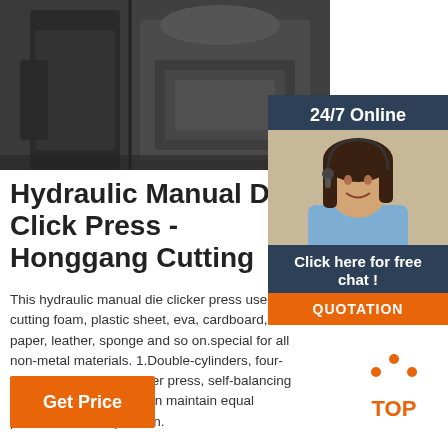[Figure (photo): Photo of a person operating a hydraulic die clicker press machine, industrial setting, dark machinery]
[Figure (photo): Customer support agent sidebar: 24/7 Online label, woman with headset smiling, Click here for free chat button, QUOTATION button in orange]
Hydraulic Manual Die Click Press - Honggang Cutting
This hydraulic manual die clicker press used for cutting foam, plastic sheet, eva, cardboard, paper, leather, sponge and so on.special for all non-metal materials. 1.Double-cylinders, four-columns, hydraulic clicker press, self-balancing connecting rod which can maintain equal pressure of each position.
[Figure (illustration): Orange TOP icon with dots above text]
Get Price